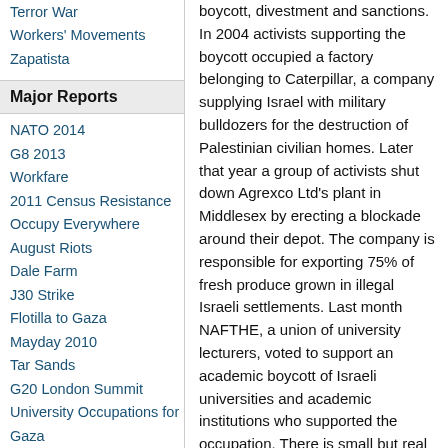Terror War
Workers' Movements
Zapatista
Major Reports
NATO 2014
G8 2013
Workfare
2011 Census Resistance
Occupy Everywhere
August Riots
Dale Farm
J30 Strike
Flotilla to Gaza
Mayday 2010
Tar Sands
G20 London Summit
University Occupations for Gaza
Guantanamo
Indymedia Server Seizure
COP15 Climate Summit
boycott, divestment and sanctions. In 2004 activists supporting the boycott occupied a factory belonging to Caterpillar, a company supplying Israel with military bulldozers for the destruction of Palestinian civilian homes. Later that year a group of activists shut down Agrexco Ltd's plant in Middlesex by erecting a blockade around their depot. The company is responsible for exporting 75% of fresh produce grown in illegal Israeli settlements. Last month NAFTHE, a union of university lecturers, voted to support an academic boycott of Israeli universities and academic institutions who supported the occupation. There is small but real support in Israel for the academic boycott, last month an Israeli professor spoke out in support of the boycott.
PSC and BIG aim to build a mass campaign similar to that of a boycott of apartheid South Africa. The campaign focuses on Boycott,